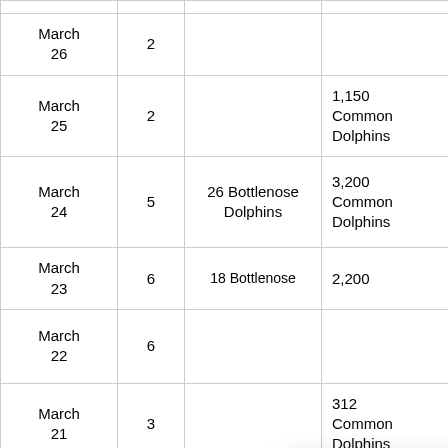| Date | Trips | Species Sighted (Close) | Species Sighted (Far) | Species Sighted (3rd) |
| --- | --- | --- | --- | --- |
| March 26 | 2 |  |  |  |
| March 25 | 2 |  | 1,150 Common Dolphins |  |
| March 24 | 5 | 26 Bottlenose Dolphins | 3,200 Common Dolphins | 40 W... si... Do... |
| March 23 | 6 | 18 Bottlenose | 2,200 |  |
| March 22 | 6 |  |  | 9 W... si... Do... |
| March 21 | 3 |  | 312 Common Dolphins |  |
| March 20 | 5 |  | 2,550 Common |  |
[Figure (other): Chat popup overlay with avatar photo of a woman with short grey hair, close button, and text: 'Whale, hi there! We are OPEN & SAFE. Have a question? Text us.']